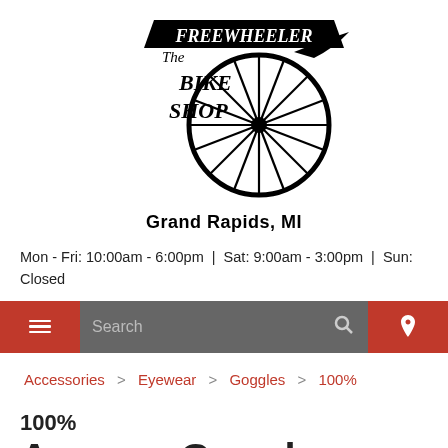[Figure (logo): The Freewheeler Bike Shop logo with decorative script text and a large spoked bicycle wheel graphic, Grand Rapids MI]
Mon - Fri: 10:00am - 6:00pm  |  Sat: 9:00am - 3:00pm  |  Sun: Closed
Search (navigation bar with hamburger menu, search field, and location icon)
Accessories > Eyewear > Goggles > 100%
100%
Armega Goggles